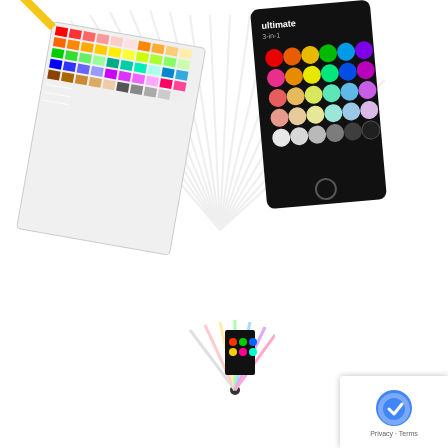[Figure (photo): Main product image showing a color tool fan deck with rainbow swatches fanned out and a black card with colored dots arranged in rows]
[Figure (photo): Thumbnail image 1: small fan deck color tool swatch book]
[Figure (photo): Thumbnail image 2: COLOR TOOL product packaging, black card with colored dots]
Pick perfect colors every time!
[Figure (other): 5 star rating shown as blue/purple star icons]
| QTY. | Ultimate 3-in-1 Color Tool |
| --- | --- |
| 1 | Item # 411402 |